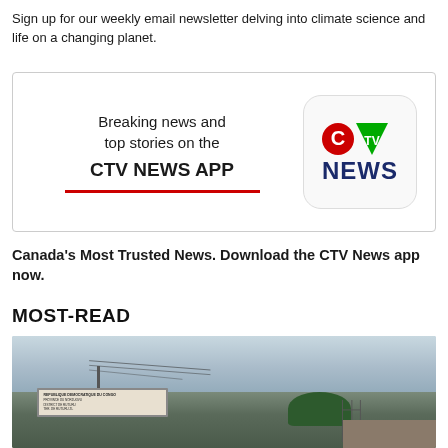Sign up for our weekly email newsletter delving into climate science and life on a changing planet.
[Figure (advertisement): CTV News App advertisement banner with text 'Breaking news and top stories on the CTV NEWS APP' with red underline on left, and CTV News logo in rounded square on right]
Canada's Most Trusted News. Download the CTV News app now.
MOST-READ
[Figure (photo): Outdoor photo showing a sign reading 'REPUBLIQUE DEMOCRATIQUE DU CONGO / PROVINCE DU NORD-KIVU' with utility poles, wires, trees, scaffolding and a building in the background under a cloudy sky]